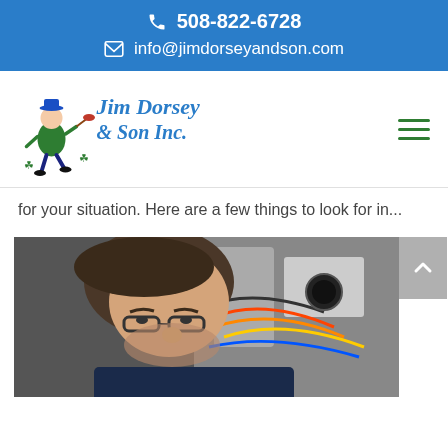508-822-6728  info@jimdorseyandson.com
[Figure (logo): Jim Dorsey & Son Inc. plumbing company logo with cartoon plumber character]
for your situation. Here are a few things to look for in...
[Figure (photo): A man wearing glasses and a dark shirt leaning in to inspect the interior wiring and components of an HVAC or furnace unit]